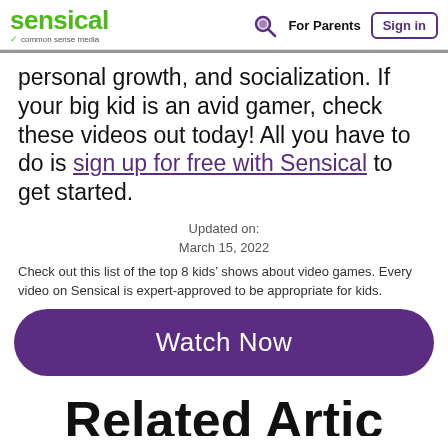sensical | common sense media | For Parents | Sign in
personal growth, and socialization. If your big kid is an avid gamer, check these videos out today! All you have to do is sign up for free with Sensical to get started.
Updated on:
March 15, 2022
Check out this list of the top 8 kids' shows about video games. Every video on Sensical is expert-approved to be appropriate for kids.
Watch Now
Related Articles